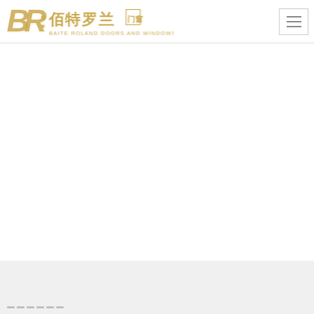[Figure (logo): Baite Roland Doors and Windows logo with stylized BR letters in gold and Chinese characters 佰特罗兰门窗 with text BAITE ROLAND DOORS AND WINDOWS]
[Figure (other): Hamburger menu icon (three horizontal lines) in a bordered square box on the top right]